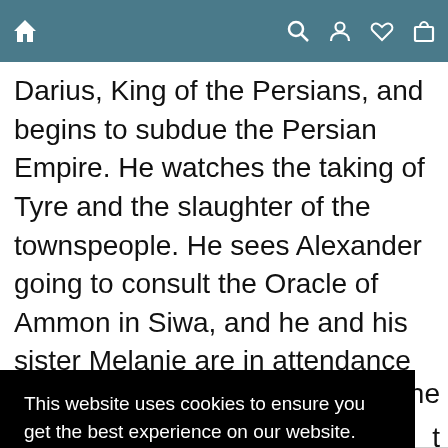Navigation bar with home, search, account, wishlist, and cart icons
Darius, King of the Persians, and begins to subdue the Persian Empire. He watches the taking of Tyre and the slaughter of the townspeople. He sees Alexander going to consult the Oracle of Ammon in Siwa, and he and his sister Melanie are in attendance when Darius is killed, when Alexander decides
the
t
ete
eat.
This website uses cookies to ensure you get the best experience on our website.
Learn more
Got it!